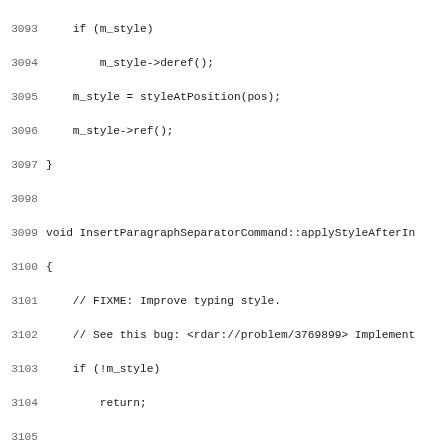[Figure (other): Source code listing in C++, lines 3093–3124, showing InsertParagraphSeparatorCommand methods including applyStyleAfterInsertion and doApply with line numbers in gray and code in monospace font.]